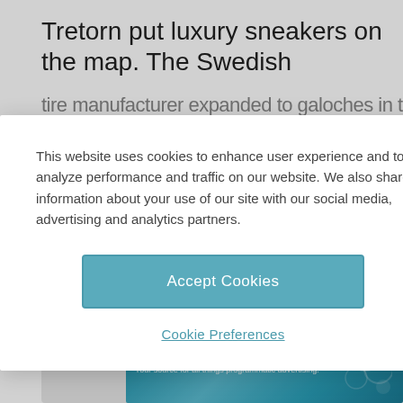Tretorn put luxury sneakers on the map. The Swedish tire manufacturer expanded to galoches in the 1800s
Our Tretorn Pick: Lina2
[Figure (screenshot): Cookie consent modal dialog with Accept Cookies button and Cookie Preferences link, overlaying a webpage about Tretorn sneakers]
[Figure (infographic): Advertisement banner for HEADERBIDDING.COM with tagline: Your source for all things programmatic advertising. Teal/blue gradient background with network pattern.]